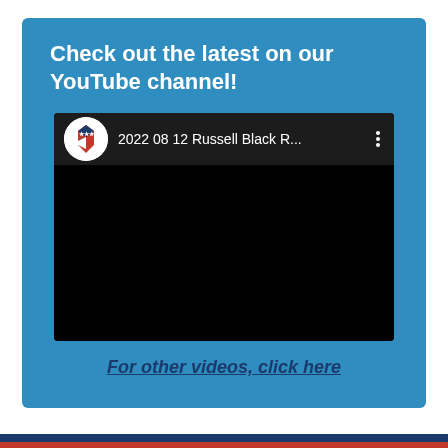Check out the latest on our YouTube channel!
[Figure (screenshot): Embedded YouTube video player showing a video titled '2022 08 12 Russell Black R...' with a Maine GOP channel logo (white circle with blue and red state of Maine graphic with stars). The video area is black. A three-dot menu icon is visible.]
For other videos, click here